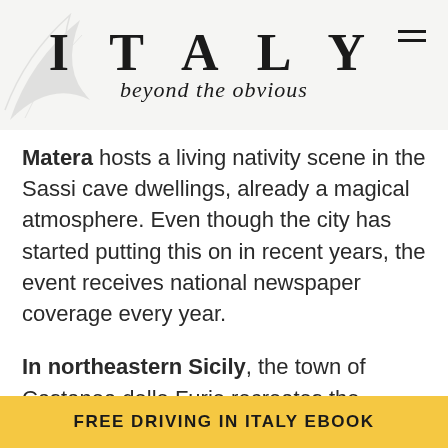ITALY beyond the obvious
Matera hosts a living nativity scene in the Sassi cave dwellings, already a magical atmosphere. Even though the city has started putting this on in recent years, the event receives national newspaper coverage every year.
In northeastern Sicily, the town of Castanea delle Furie recreates the village of Bethlehem. Visitors can walk down streets that appear as they would have 2,000 years ago. Jesus, Mary,
FREE DRIVING IN ITALY EBOOK